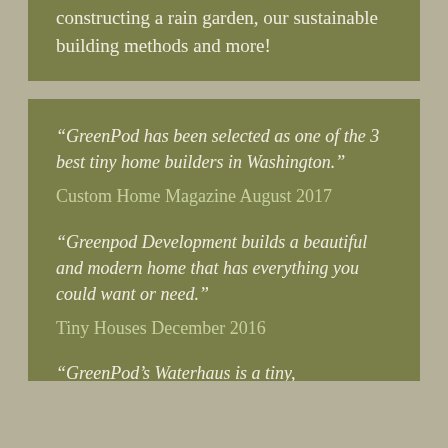constructing a rain garden, our sustainable building methods and more!
“GreenPod has been selected as one of the 3 best tiny home builders in Washington.”
Custom Home Magazine August 2017
“Greenpod Development builds a beautiful and modern home that has everything you could want or need.”
Tiny Houses December 2016
“GreenPod’s Waterhaus is a tiny, prefabricated eco-friendly home.”
Treebugger July 2016